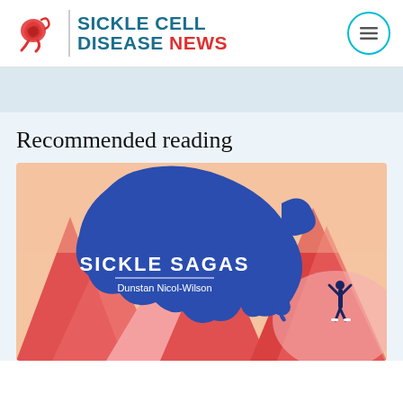[Figure (logo): Sickle Cell Disease News logo with red cell icon, vertical divider, and text 'SICKLE CELL DISEASE NEWS' in teal and red]
[Figure (illustration): Blue banner/advertisement area below header]
Recommended reading
[Figure (illustration): Book cover for 'Sickle Sagas' by Dunstan Nicol-Wilson showing a blue amorphous shape over stylized red mountains with a figure raising arms in triumph]